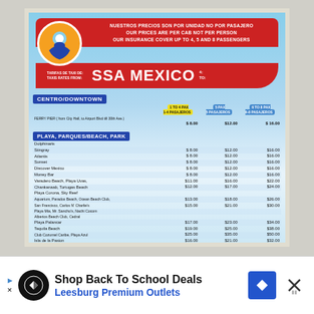[Figure (photo): Taxi rate sign for SSA Mexico showing prices per cab for various destinations in Cozumel, mounted on a board with sky and palm tree background]
NUESTROS PRECIOS SON POR UNIDAD NO POR PASAJERO
OUR PRICES ARE PER CAB NOT PER PERSON
OUR INSURANCE COVER UP TO 4, 5 AND 8 PASSENGERS
TARIFAS DE TAXI DE:
TAXIS RATES FROM: SSA MEXICO 4:
TO:
CENTRO/DOWNTOWN
| Destination | 1 TO 4 PAX (4 PASAJEROS) | 5 PAX (5 PASAJEROS) | 6 TO 8 PAX (6-8 PASAJEROS) |
| --- | --- | --- | --- |
| FERRY PIER (from City Hall, to Airport Blvd till 30th Ave.) | $ 8.00 | $12.00 | $ 16.00 |
PLAYA, PARQUES/BEACH, PARK
| Destination | 1 TO 4 PAX | 5 PAX | 6 TO 8 PAX |
| --- | --- | --- | --- |
| Dolphinaris |  |  |  |
| Stingray | $ 8.00 | $12.00 | $16.00 |
| Atlantis | $ 8.00 | $12.00 | $16.00 |
| Sunset | $ 8.00 | $12.00 | $16.00 |
| Discover Mexico | $ 8.00 | $12.00 | $16.00 |
| Money Bar | $ 8.00 | $12.00 | $16.00 |
| Varadero Beach, Playa Uvas, | $11.00 | $16.00 | $22.00 |
| Chankanaab, Tortugas Beach | $12.00 | $17.00 | $24.00 |
| Playa Corona, Sky Reef |  |  |  |
| Aquarium, Paradox Beach, Ocean Beach Club, | $13.00 | $18.00 | $26.00 |
| San Francisco, Carlos N' Charlie's | $15.00 | $21.00 | $30.00 |
| Playa Mia, Mr. Sancho's, Nachi Cocom |  |  |  |
| Alberios Beach Club, Cedral |  |  |  |
| Playa Palancar | $17.00 | $23.00 | $34.00 |
| Tequila Beach | $19.00 | $25.00 | $38.00 |
| Club Cozumel Caribe, Playa Azul | $25.00 | $35.00 | $50.00 |
| Isla de la Pasion | $16.00 | $21.00 | $32.00 |
| Tequilera Mexico Lindo | $16.00 | $21.00 | $32.00 |
| Tequilera Tres Tetas | $32.00 | $39.00 | $84.00 |
| Chocolate Factory | $ 8.00 | $12.00 | $16.00 |
[Figure (photo): Advertisement banner: Shop Back To School Deals - Leesburg Premium Outlets]
Shop Back To School Deals
Leesburg Premium Outlets